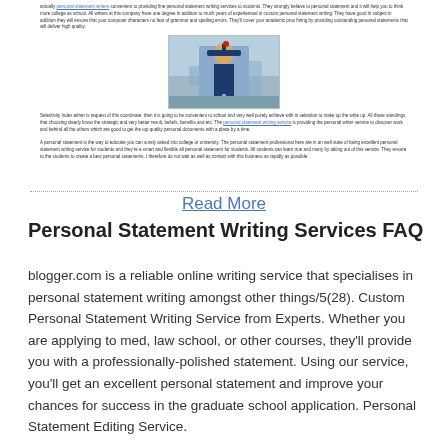[Figure (illustration): Miniature article preview showing a photo of a graduate in cap and gown outdoors, with small body text above and below the image, including a blue hyperlink for 'personal statement writing service'.]
Read More
Personal Statement Writing Services FAQ
blogger.com is a reliable online writing service that specialises in personal statement writing amongst other things/5(28). Custom Personal Statement Writing Service from Experts. Whether you are applying to med, law school, or other courses, they'll provide you with a professionally-polished statement. Using our service, you'll get an excellent personal statement and improve your chances for success in the graduate school application. Personal Statement Editing Service.